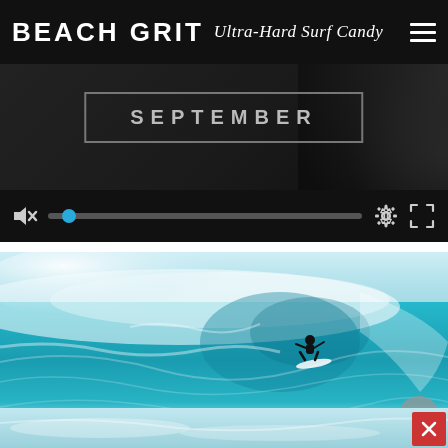BEACH GRIT Ultra-Hard Surf Candy
[Figure (screenshot): Video player showing dark background with 'SEPTEMBER' text in a bordered box, with muted speaker icon, seek bar with blue thumb, settings gear icon, and fullscreen icon in the controls bar.]
[Figure (photo): Surfing photo showing a surfer riding a large turquoise wave curling overhead, with white foam and spray, taken from behind the barrel.]
[Figure (photo): Partial bottom strip showing another ocean/wave photo in blue-green tones.]